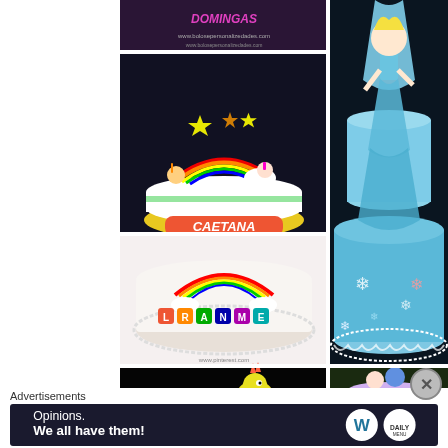[Figure (photo): Grid of birthday cake photos with character decorations (Frozen/Elsa, rainbow/unicorn, Doc McStuffins, dinosaur themes). Top left shows 'DOMINGAS' cake branding, middle left shows 'CAETANA' rainbow unicorn cake, bottom left shows rainbow letter cube cake. Right large image shows Frozen/Elsa themed blue cake with snowflakes. Bottom row shows dinosaur cake and Doc McStuffins 'JOANA 4' cake.]
Advertisements
[Figure (infographic): WordPress advertisement banner: 'Opinions. We all have them!' with WordPress 'W' logo and another circular logo on dark background.]